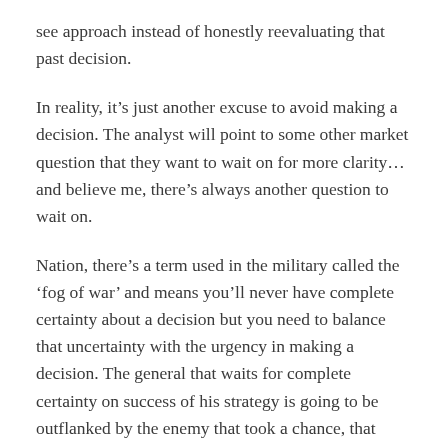see approach instead of honestly reevaluating that past decision.
In reality, it’s just another excuse to avoid making a decision. The analyst will point to some other market question that they want to wait on for more clarity…and believe me, there’s always another question to wait on.
Nation, there’s a term used in the military called the ‘fog of war’ and means you’ll never have complete certainty about a decision but you need to balance that uncertainty with the urgency in making a decision. The general that waits for complete certainty on success of his strategy is going to be outflanked by the enemy that took a chance, that made their decision without waiting.
It’s the same thing with investing. You will never know